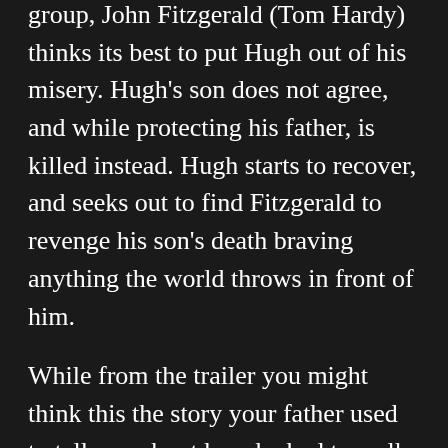group, John Fitzgerald (Tom Hardy) thinks its best to put Hugh out of his misery. Hugh's son does not agree, and while protecting his father, is killed instead. Hugh starts to recover, and seeks out to find Fitzgerald to revenge his son's death braving anything the world throws in front of him.
While from the trailer you might think this the story your father used to tell you about how he had to walk in the snow, it is not quite that. Instead what most people recall about what they know about this movie is the bear attack in the trailer, that doesn't do the scene justice. DiCaprio gives his all for this performance, one that is mostly physical, and all together amazing. With such a